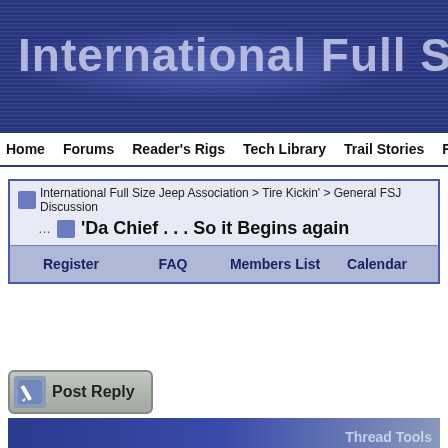[Figure (screenshot): International Full Size Jeep Association website banner header with dark blue background and large text]
Home  Forums  Reader's Rigs  Tech Library  Trail Stories  FSJ-List
International Full Size Jeep Association > Tire Kickin' > General FSJ Discussion
'Da Chief . . . So it Begins again
Register  FAQ  Members List  Calendar
Post Reply
Thread Tools
05-13-2015, 09:19 PM
cu4wbln